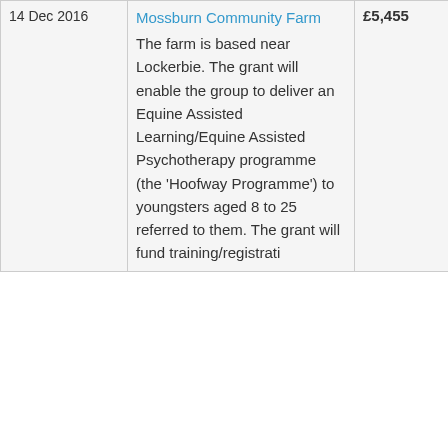| Date | Organisation / Description | Amount | Funder |
| --- | --- | --- | --- |
| 14 Dec 2016 | Mossburn Community Farm
The farm is based near Lockerbie. The grant will enable the group to deliver an Equine Assisted Learning/Equine Assisted Psychotherapy programme (the 'Hoofway Programme') to youngsters aged 8 to 25 referred to them. The grant will fund training/registrati | £5,455 | Big Lotto |